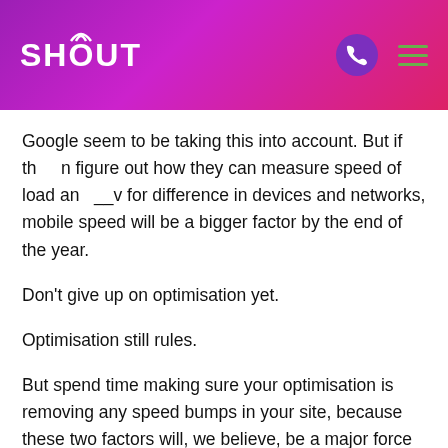SHOUT
Google seem to be taking this into account. But if they can figure out how they can measure speed of load and allow for difference in devices and networks, mobile speed will be a bigger factor by the end of the year.
Don't give up on optimisation yet.
Optimisation still rules.
But spend time making sure your optimisation is removing any speed bumps in your site, because these two factors will, we believe, be a major force this time next year.
5. If you're not making